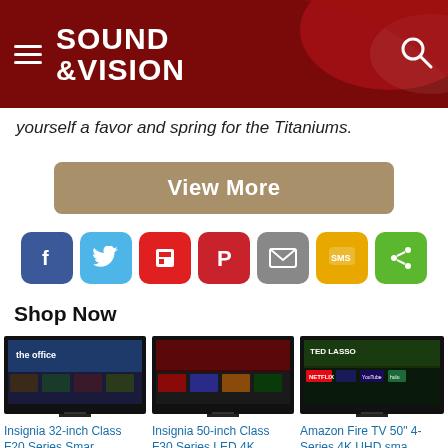Sound & Vision
yourself a favor and spring for the Titaniums.
View More
[Figure (other): Social sharing icons row: Facebook, Twitter, Flipboard, Pinterest, Email, SMS, Share]
Shop Now
[Figure (other): TV product image showing The Office on screen - Insignia 32-inch Class F20 Series Smart TV]
[Figure (other): TV product image showing The Handmaid's Tale on screen - Insignia 50-inch Class F30 Series LED 4K TV]
[Figure (other): TV product image showing Ted Lasso on screen - Amazon Fire TV 50-inch 4-Series 4K UHD smart TV]
Insignia 32-inch Class F20 Series Smar...
$99.99  $179.99
Insignia 50-inch Class F30 Series LED 4K ...
$239.99  $399.99
Amazon Fire TV 50" 4-Series 4K UHD sma...
$349.99 prime